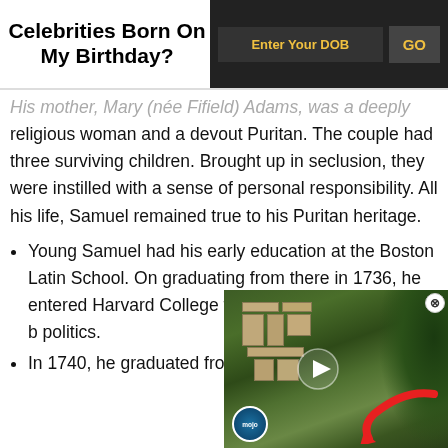Celebrities Born On My Birthday?
His mother, Mary (née Fifield) Adams, was a deeply religious woman and a devout Puritan. The couple had three surviving children. Brought up in seclusion, they were instilled with a sense of personal responsibility. All his life, Samuel remained true to his Puritan heritage.
Young Samuel had his early education at the Boston Latin School. On graduating from there in 1736, he entered Harvard College to... but very soon his interest b... politics.
In 1740, he graduated from...
[Figure (screenshot): Video widget showing aerial view of ancient ruins, with MojoTop play button overlay and red arrow annotation]